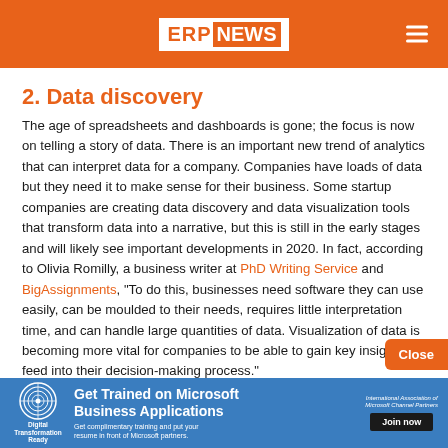ERPNEWS
2. Data discovery
The age of spreadsheets and dashboards is gone; the focus is now on telling a story of data. There is an important new trend of analytics that can interpret data for a company. Companies have loads of data but they need it to make sense for their business. Some startup companies are creating data discovery and data visualization tools that transform data into a narrative, but this is still in the early stages and will likely see important developments in 2020. In fact, according to Olivia Romilly, a business writer at PhD Writing Service and BigAssignments, "To do this, businesses need software they can use easily, can be moulded to their needs, requires little interpretation time, and can handle large quantities of data. Visualization of data is becoming more vital for companies to be able to gain key insight and feed into their decision-making process."
[Figure (infographic): Footer advertisement banner: Get Trained on Microsoft Business Applications. Digital Transformation Ready logo on left, Microsoft partner logo and Join now button on right.]